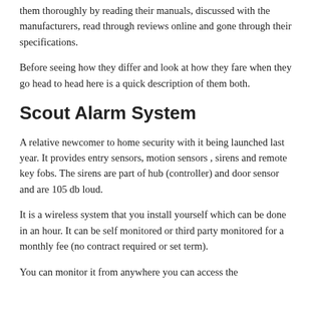them thoroughly by reading their manuals, discussed with the manufacturers, read through reviews online and gone through their specifications.
Before seeing how they differ and look at how they fare when they go head to head here is a quick description of them both.
Scout Alarm System
A relative newcomer to home security with it being launched last year. It provides entry sensors, motion sensors , sirens and remote key fobs. The sirens are part of hub (controller) and door sensor and are 105 db loud.
It is a wireless system that you install yourself which can be done in an hour. It can be self monitored or third party monitored for a monthly fee (no contract required or set term).
You can monitor it from anywhere you can access the